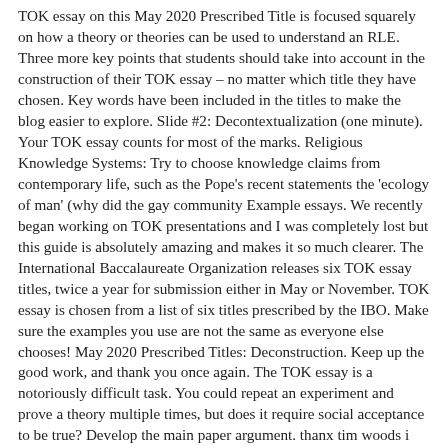TOK essay on this May 2020 Prescribed Title is focused squarely on how a theory or theories can be used to understand an RLE. Three more key points that students should take into account in the construction of their TOK essay – no matter which title they have chosen. Key words have been included in the titles to make the blog easier to explore. Slide #2: Decontextualization (one minute). Your TOK essay counts for most of the marks. Religious Knowledge Systems: Try to choose knowledge claims from contemporary life, such as the Pope's recent statements the 'ecology of man' (why did the gay community Example essays. We recently began working on TOK presentations and I was completely lost but this guide is absolutely amazing and makes it so much clearer. The International Baccalaureate Organization releases six TOK essay titles, twice a year for submission either in May or November. TOK essay is chosen from a list of six titles prescribed by the IBO. Make sure the examples you use are not the same as everyone else chooses! May 2020 Prescribed Titles: Deconstruction. Keep up the good work, and thank you once again. The TOK essay is a notoriously difficult task. You could repeat an experiment and prove a theory multiple times, but does it require social acceptance to be true? Develop the main paper argument. thanx tim woods i sure will apply all these tips" -Julie H. © 2020 IBMastery. You saved my life. This is a classic TOK title which asks you to consider the relationship between What is personal knowledge (in the